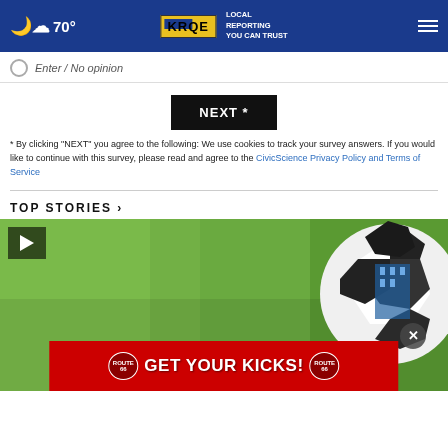70° KRQE LOCAL REPORTING YOU CAN TRUST
Enter / No opinion
NEXT *
* By clicking "NEXT" you agree to the following: We use cookies to track your survey answers. If you would like to continue with this survey, please read and agree to the CivicScience Privacy Policy and Terms of Service
TOP STORIES ›
[Figure (photo): Soccer ball on green grass field with video play button overlay and Route 66 Casino GET YOUR KICKS advertisement banner]
[Figure (photo): Route 66 Casino Hotel advertisement: GET YOUR KICKS!]